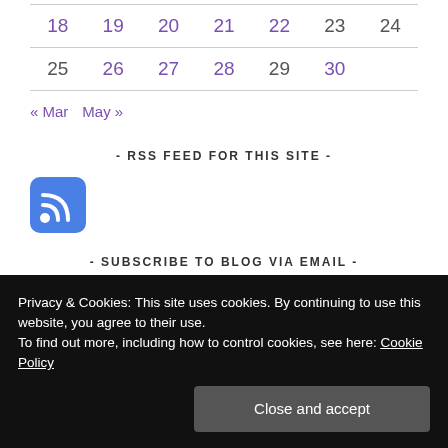| 18 | 19 | 20 | 21 | 22 | 23 | 24 |
| 25 | 26 | 27 | 28 | 29 | 30 |  |
« Mar   May »
- RSS FEED FOR THIS SITE -
[Figure (other): RSS feed icon — blue rounded square with white RSS symbol]
- SUBSCRIBE TO BLOG VIA EMAIL -
Privacy & Cookies: This site uses cookies. By continuing to use this website, you agree to their use.
To find out more, including how to control cookies, see here: Cookie Policy
Close and accept